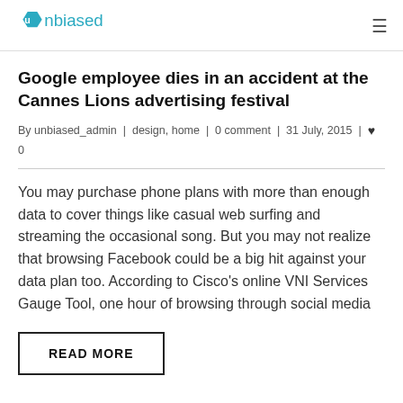unbiased
Google employee dies in an accident at the Cannes Lions advertising festival
By unbiased_admin | design, home | 0 comment | 31 July, 2015 | ♥ 0
You may purchase phone plans with more than enough data to cover things like casual web surfing and streaming the occasional song. But you may not realize that browsing Facebook could be a big hit against your data plan too. According to Cisco's online VNI Services Gauge Tool, one hour of browsing through social media
READ MORE